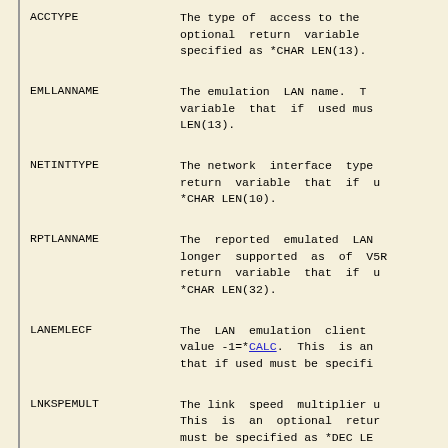ACCTYPE - The type of access to the optional return variable specified as *CHAR LEN(13).
EMLLANNAME - The emulation LAN name. T variable that if used mus LEN(13).
NETINTTYPE - The network interface type return variable that if u *CHAR LEN(10).
RPTLANNAME - The reported emulated LAN longer supported as of V5R return variable that if u *CHAR LEN(32).
LANEMLECF - The LAN emulation client value -1=*CALC. This is an that if used must be specifi
LNKSPEMULT - The link speed multiplier u This is an optional retur must be specified as *DEC LE
MSGQ - The message queue to which normally sent. This is an that if used must be specifi